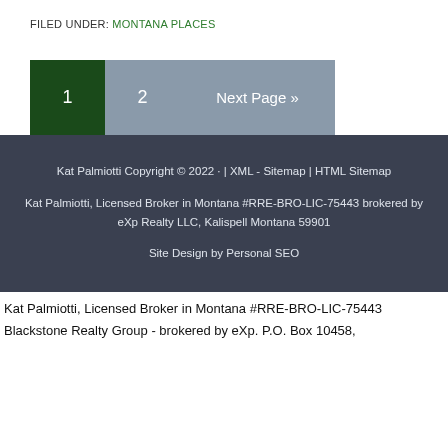FILED UNDER: MONTANA PLACES
1  2  Next Page »
Kat Palmiotti Copyright © 2022 · | XML - Sitemap | HTML Sitemap
Kat Palmiotti, Licensed Broker in Montana #RRE-BRO-LIC-75443 brokered by eXp Realty LLC, Kalispell Montana 59901
Site Design by Personal SEO
Kat Palmiotti, Licensed Broker in Montana #RRE-BRO-LIC-75443
Blackstone Realty Group - brokered by eXp. P.O. Box 10458,